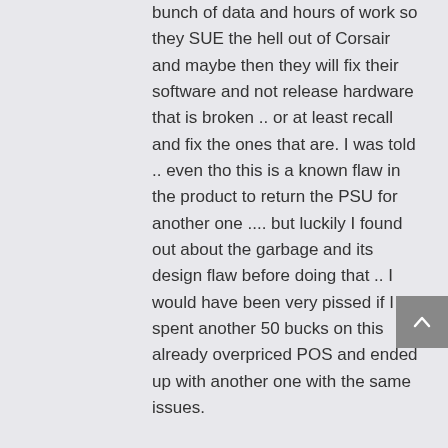bunch of data and hours of work so they SUE the hell out of Corsair and maybe then they will fix their software and not release hardware that is broken .. or at least recall and fix the ones that are. I was told .. even tho this is a known flaw in the product to return the PSU for another one .... but luckily I found out about the garbage and its design flaw before doing that .. I would have been very pissed if I spent another 50 bucks on this already overpriced POS and ended up with another one with the same issues.